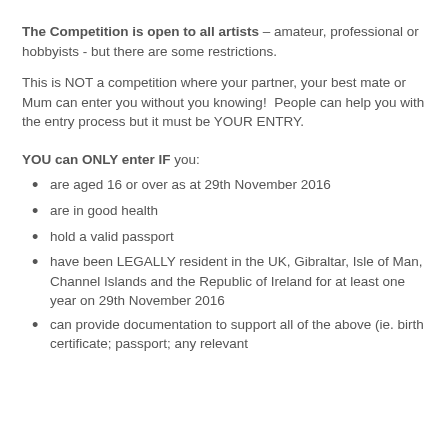The Competition is open to all artists – amateur, professional or hobbyists - but there are some restrictions.
This is NOT a competition where your partner, your best mate or Mum can enter you without you knowing!  People can help you with the entry process but it must be YOUR ENTRY.
YOU can ONLY enter IF you:
are aged 16 or over as at 29th November 2016
are in good health
hold a valid passport
have been LEGALLY resident in the UK, Gibraltar, Isle of Man, Channel Islands and the Republic of Ireland for at least one year on 29th November 2016
can provide documentation to support all of the above (ie. birth certificate; passport; any relevant